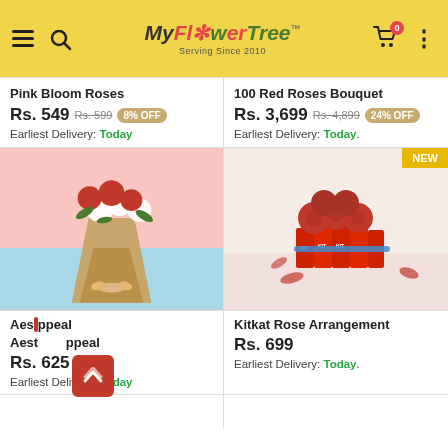MyFlowerTree — Serving Since 2010
Pink Bloom Roses
Rs. 549  Rs. 599  8% OFF
Earliest Delivery: Today
100 Red Roses Bouquet
Rs. 3,699  Rs. 4,899  24% OFF
Earliest Delivery: Today
[Figure (photo): A bouquet of red and white roses wrapped in burlap on a pink background]
[Figure (photo): A KitKat rose arrangement with red roses on top of KitKat chocolate bars, labeled NEW]
Aesthetic Appeal
Rs. 625
Earliest Delivery: Today
Kitkat Rose Arrangement
Rs. 699
Earliest Delivery: Today